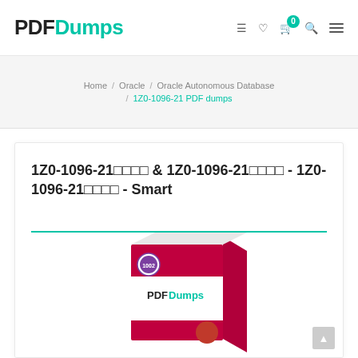PDFDumps
Home / Oracle / Oracle Autonomous Database / 1Z0-1096-21 PDF dumps
1Z0-1096-21□□□□ & 1Z0-1096-21□□□□ - 1Z0-1096-21□□□□ - Smart
[Figure (photo): PDFDumps product box with magenta/white design and purple badge]